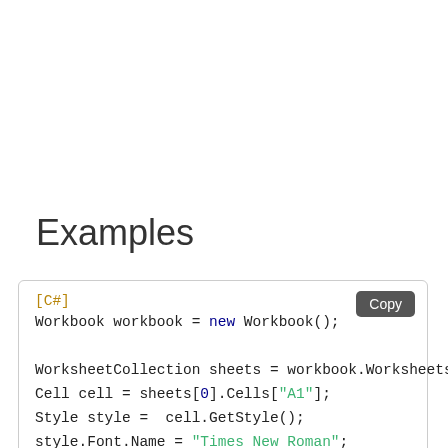Examples
[C#]
Workbook workbook = new Workbook();

WorksheetCollection sheets = workbook.Worksheets;
Cell cell = sheets[0].Cells["A1"];
Style style =  cell.GetStyle();
style.Font.Name = "Times New Roman";
style.Font.Color = Color.Blue;
cell.SetStyle(style);